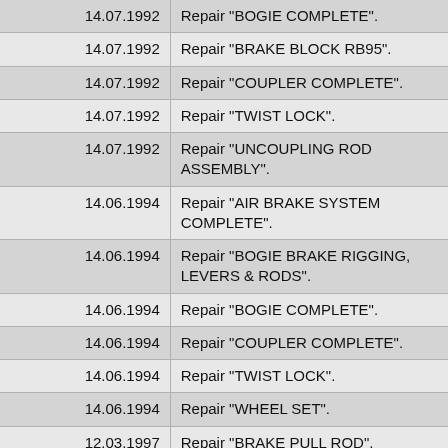| Date | Description |
| --- | --- |
| 14.07.1992 | Repair "BOGIE COMPLETE". |
| 14.07.1992 | Repair "BRAKE BLOCK RB95". |
| 14.07.1992 | Repair "COUPLER COMPLETE". |
| 14.07.1992 | Repair "TWIST LOCK". |
| 14.07.1992 | Repair "UNCOUPLING ROD ASSEMBLY". |
| 14.06.1994 | Repair "AIR BRAKE SYSTEM COMPLETE". |
| 14.06.1994 | Repair "BOGIE BRAKE RIGGING, LEVERS & RODS". |
| 14.06.1994 | Repair "BOGIE COMPLETE". |
| 14.06.1994 | Repair "COUPLER COMPLETE". |
| 14.06.1994 | Repair "TWIST LOCK". |
| 14.06.1994 | Repair "WHEEL SET". |
| 12.03.1997 | Repair "BRAKE PULL ROD". |
| 30.04.1997 | Repair "COUPLER KNUCKLE". |
| 30.04.1997 | Repair "WHEEL SET". |
| 30.04.1997 | Issued at location "East Tamar Junction" |